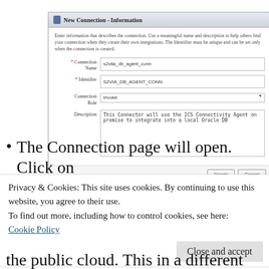[Figure (screenshot): A dialog box titled 'New Connection - Information' with fields: Connection Name (s2vila_db_agent_conn), Identifier (S2VIA_DB_AGENT_CONN), Connection Role (Invoke dropdown), Description (This Connector will use the ICS Connectivity Agent on premise to integrate into a local Oracle DB). Buttons: Create and Cancel.]
The Connection page will open. Click on
Privacy & Cookies: This site uses cookies. By continuing to use this website, you agree to their use.
To find out more, including how to control cookies, see here:
Cookie Policy
the public cloud. This in a different situation